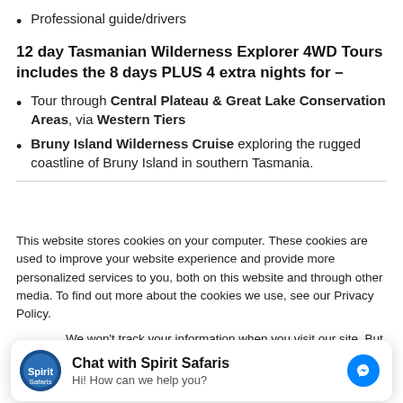Professional guide/drivers
12 day Tasmanian Wilderness Explorer 4WD Tours includes the 8 days PLUS 4 extra nights for –
Tour through Central Plateau & Great Lake Conservation Areas, via Western Tiers
Bruny Island Wilderness Cruise exploring the rugged coastline of Bruny Island in southern Tasmania.
This website stores cookies on your computer. These cookies are used to improve your website experience and provide more personalized services to you, both on this website and through other media. To find out more about the cookies we use, see our Privacy Policy.
We won't track your information when you visit our site. But in order to comply with your preferences, we'll have to use just one tiny cookie so that you're not asked to make this choice again.
Chat with Spirit Safaris
Hi! How can we help you?